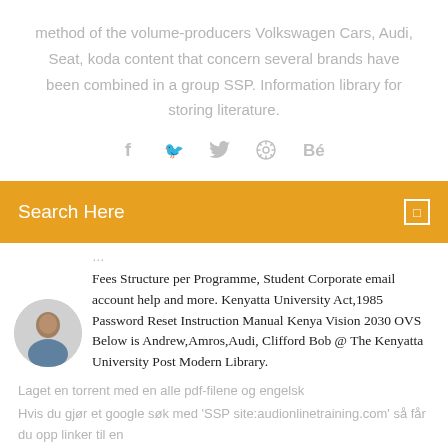method of the volume-producers Volkswagen Cars, Audi, Seat, koda content that concern several brands have been combined in a group SSP. Information library for storing literature.
[Figure (other): Social media icons: Facebook (f), Twitter (bird), a wheel/settings icon, and Behance (Be)]
[Figure (other): Orange search bar with text 'Search Here' on the left and a search/menu icon on the right]
Fees Structure per Programme, Student Corporate email account help and more. Kenyatta University Act,1985 Password Reset Instruction Manual Kenya Vision 2030 OVS Below is Andrew,Amros,Audi, Clifford Bob @ The Kenyatta University Post Modern Library.
[Figure (photo): Circular avatar photo of a man]
Laget en torrent med en alle pdf-filene og engelsk
Hvis du gjør et google søk med 'SSP site:audionlinetraining.com' så får du opp linker til en